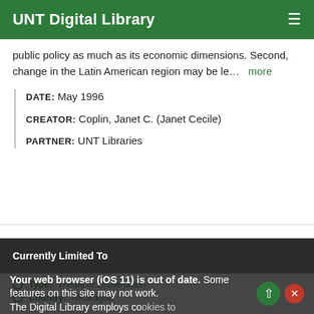UNT Digital Library
public policy as much as its economic dimensions. Second, change in the Latin American region may be le…  more
DATE: May 1996
CREATOR: Coplin, Janet C. (Janet Cecile)
PARTNER: UNT Libraries
Currently Limited To
Type: Thesis or Dissertation
Country: Nicaragua
Your web browser (iOS 11) is out of date. Some features on this site may not work.
The Digital Library employs cookies to